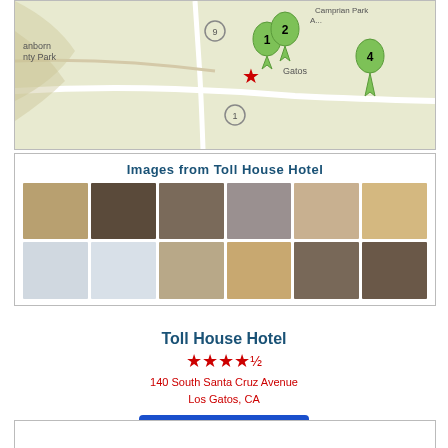[Figure (map): Map showing Los Gatos area with numbered hotel pins (1, 2, 3, 4) and a red star marker. Shows roads, Sanborn County Park area.]
Images from Toll House Hotel
[Figure (photo): Grid of 12 hotel photos showing guest rooms, meeting rooms, banquet halls, exterior, and dining areas of Toll House Hotel.]
Toll House Hotel
★★★★ (4 stars)
140 South Santa Cruz Avenue
Los Gatos, CA
Book It